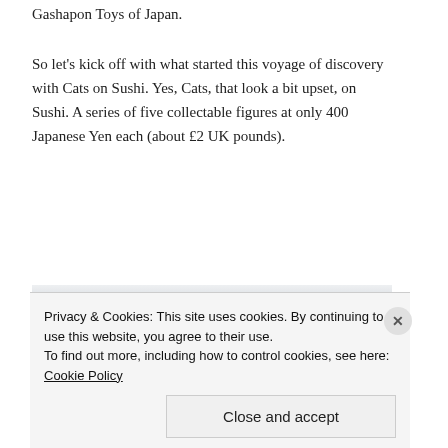Gashapon Toys of Japan.
So let's kick off with what started this voyage of discovery with Cats on Sushi. Yes, Cats, that look a bit upset, on Sushi. A series of five collectable figures at only 400 Japanese Yen each (about £2 UK pounds).
[Figure (photo): Partial view of what appears to be packaged/boxed items, likely Gashapon toy packaging, with a blue bar at the bottom.]
Privacy & Cookies: This site uses cookies. By continuing to use this website, you agree to their use.
To find out more, including how to control cookies, see here: Cookie Policy
Close and accept